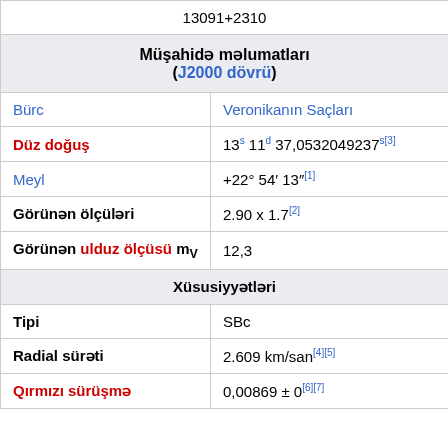|  | 13091+2310 |
| Müşahidə məlumatları (J2000 dövrü) |  |
| Bürc | Veronikanın Saçları |
| Düz doğuş | 13s 11d 37,0532049237s[3] |
| Meyl | +22° 54′ 13″[1] |
| Görünən ölçüləri | 2.90 x 1.7[2] |
| Görünən ulduz ölçüsü mv | 12,3 |
| Xüsusiyyətləri |  |
| Tipi | SBc |
| Radial sürəti | 2.609 km/san[4][5] |
| Qırmızı sürüşmə | 0,00869 ± 0[6][7] |